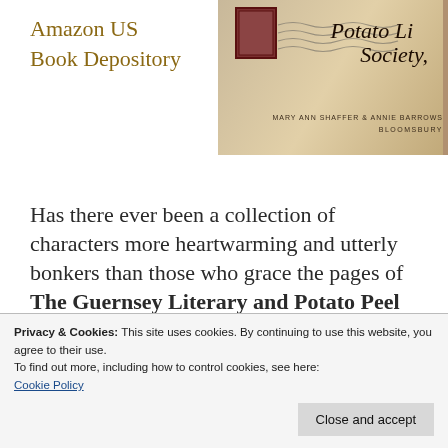Amazon US
Book Depository
[Figure (photo): Book cover of The Guernsey Literary and Potato Peel Pie Society by Mary Ann Shaffer and Annie Barrows, with a postmark and stamp design, published by Bloomsbury]
Has there ever been a collection of characters more heartwarming and utterly bonkers than those who grace the pages of The Guernsey Literary and Potato Peel Pie Society? And if so, have we ever been able to read each voice so
Privacy & Cookies: This site uses cookies. By continuing to use this website, you agree to their use.
To find out more, including how to control cookies, see here:
Cookie Policy
Close and accept
norm. However, I can't imagine reading this any